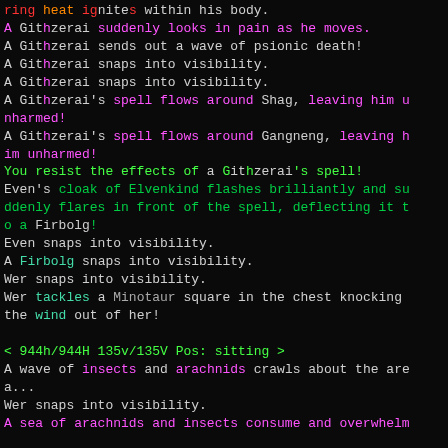ring heat ignites within his body.
A Githzerai suddenly looks in pain as he moves.
A Githzerai sends out a wave of psionic death!
A Githzerai snaps into visibility.
A Githzerai snaps into visibility.
A Githzerai's spell flows around Shag, leaving him unharmed!
A Githzerai's spell flows around Gangneng, leaving him unharmed!
You resist the effects of a Githzerai's spell!
Even's cloak of Elvenkind flashes brilliantly and suddenly flares in front of the spell, deflecting it to a Firbolg!
Even snaps into visibility.
A Firbolg snaps into visibility.
Wer snaps into visibility.
Wer tackles a Minotaur square in the chest knocking the wind out of her!
< 944h/944H 135v/135V Pos: sitting >
A wave of insects and arachnids crawls about the area...
Wer snaps into visibility.
A sea of arachnids and insects consume and overwhelm